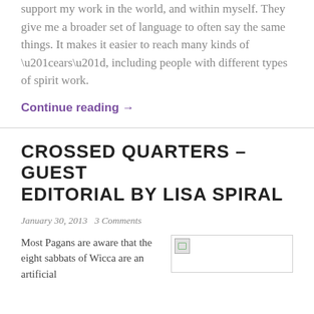support my work in the world, and within myself. They give me a broader set of language to often say the same things. It makes it easier to reach many kinds of “ears”, including people with different types of spirit work.
Continue reading →
CROSSED QUARTERS – GUEST EDITORIAL BY LISA SPIRAL
January 30, 2013   3 Comments
Most Pagans are aware that the eight sabbats of Wicca are an artificial
[Figure (photo): Broken/placeholder image thumbnail with small green icon in top-left corner, bordered box]